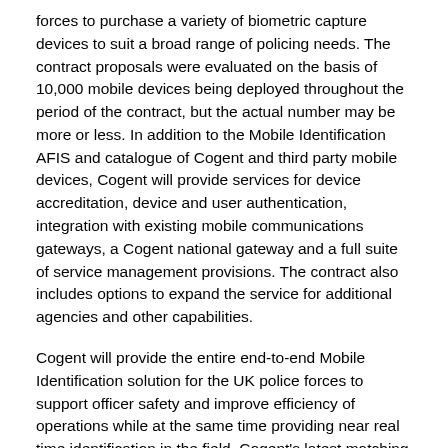forces to purchase a variety of biometric capture devices to suit a broad range of policing needs. The contract proposals were evaluated on the basis of 10,000 mobile devices being deployed throughout the period of the contract, but the actual number may be more or less. In addition to the Mobile Identification AFIS and catalogue of Cogent and third party mobile devices, Cogent will provide services for device accreditation, device and user authentication, integration with existing mobile communications gateways, a Cogent national gateway and a full suite of service management provisions. The contract also includes options to expand the service for additional agencies and other capabilities.
Cogent will provide the entire end-to-end Mobile Identification solution for the UK police forces to support officer safety and improve efficiency of operations while at the same time providing near real time identification in the field. Cogent's latest matching technology will provide the latest state-of-the-art technology to meet the demanding response time and accuracy requirements. The use of mobile devices combined with the AFIS system will enable police to quickly scan an individual's fingerprints in the field and perform an identification check against the national fingerprint database. Officers will save time by reducing the number of trips to